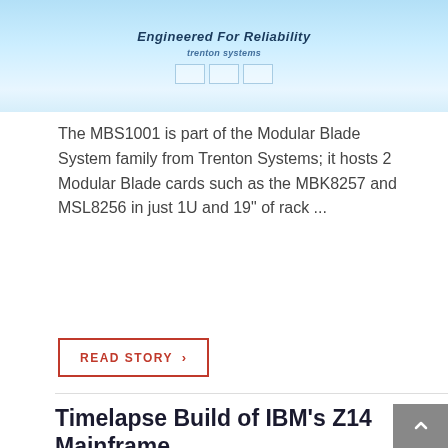[Figure (photo): Banner image with text 'Engineered For Reliability' and a subtext, showing a server/hardware product on a light blue background]
The MBS1001 is part of the Modular Blade System family from Trenton Systems; it hosts 2 Modular Blade cards such as the MBK8257 and MSL8256 in just 1U and 19" of rack ...
READ STORY ›
Timelapse Build of IBM's Z14 Mainframe
by Yazz Krdzalic, on Jan 3, 2018 1:16:34 PM